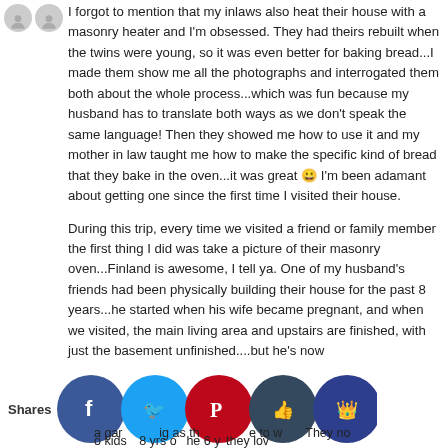[Figure (illustration): Two gray avatar/profile silhouette circles side by side]
I forgot to mention that my inlaws also heat their house with a masonry heater and I'm obsessed. They had theirs rebuilt when the twins were young, so it was even better for baking bread...I made them show me all the photographs and interrogated them both about the whole process...which was fun because my husband has to translate both ways as we don't speak the same language! Then they showed me how to use it and my mother in law taught me how to make the specific kind of bread that they bake in the oven...it was great 😀 I'm been adamant about getting one since the first time I visited their house.
During this trip, every time we visited a friend or family member the first thing I did was take a picture of their masonry oven...Finland is awesome, I tell ya. One of my husband's friends had been physically building their house for the past 8 years...he started when his wife became pregnant, and when we visited, the main living area and upstairs are finished, with just the basement unfinished....but he's now a garage big as the one to work. They now two kids 8 yrs one 6 yr they lov
Shares